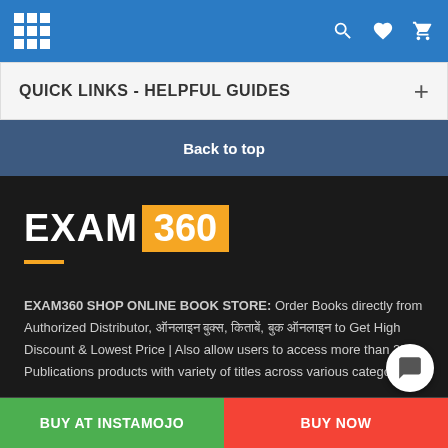Navigation bar with grid menu icon and search, wishlist, cart icons
QUICK LINKS - HELPFUL GUIDES
Back to top
[Figure (logo): EXAM 360 logo with white EXAM text and orange 360 badge on dark background]
EXAM360 SHOP ONLINE BOOK STORE: Order Books directly from Authorized Distributor, ऑनलाइन बुक्स, किताबें, बुक ऑनलाइन to Get High Discount & Lowest Price | Also allow users to access more than 250+ Publications products with variety of titles across various categories.
BUY AT INSTAMOJO | BUY NOW